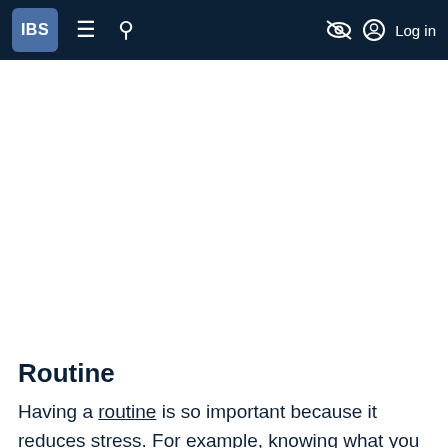IBS  ≡  🔍  Log in
Routine
Having a routine is so important because it reduces stress. For example, knowing what you will be eating for the day, having an exercise routine, going to bed at the same time, and rising at the same time in the morning is so important. Routine helps tremendously with symptoms because, as I've found, if I eat at the same time each day